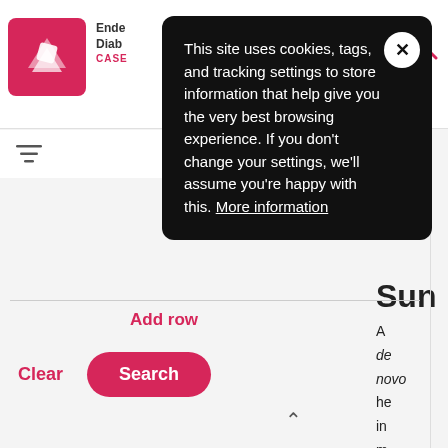[Figure (screenshot): Website header with pink logo, hamburger menu icon, and search icon on white background]
This site uses cookies, tags, and tracking settings to store information that help give you the very best browsing experience. If you don't change your settings, we'll assume you're happy with this. More information
and Akira Hishin
Sun
A de novo he in m of ca se re (CASR gene typicall causes
Add row
Clear
Search